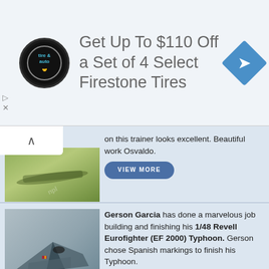[Figure (infographic): Advertisement banner: 'Get Up To $110 Off a Set of 4 Select Firestone Tires' with Firestone tire & auto logo and blue navigation arrow icon]
on this trainer looks excellent. Beautiful work Osvaldo.
[Figure (photo): Partial photo of a model airplane (trainer) with green camouflage coloring]
VIEW MORE
Gerson Garcia has done a marvelous job building and finishing his 1/48 Revell Eurofighter (EF 2000) Typhoon. Gerson chose Spanish markings to finish his Typhoon.
[Figure (photo): Photo of 1/48 Revell Eurofighter (EF 2000) Typhoon model with Spanish markings, grey color scheme]
VIEW MORE
Here's a product article for the 1/32 Heinkel He 111 Landing Gear from Scale Aircraft Conversions. This detail set is designed for the Revell kit.
[Figure (photo): Photo of 1/32 Heinkel He 111 Landing Gear metal parts from Scale Aircraft Conversions on light blue background]
VIEW MORE